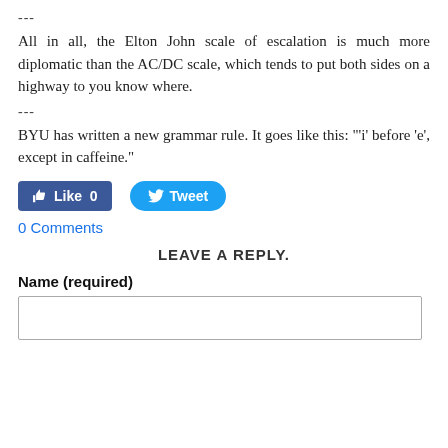---
All in all, the Elton John scale of escalation is much more diplomatic than the AC/DC scale, which tends to put both sides on a highway to you know where.
---
BYU has written a new grammar rule. It goes like this: "'i' before 'e', except in caffeine."
[Figure (other): Facebook Like button showing 'Like 0' and Twitter Tweet button]
0 Comments
LEAVE A REPLY.
Name (required)